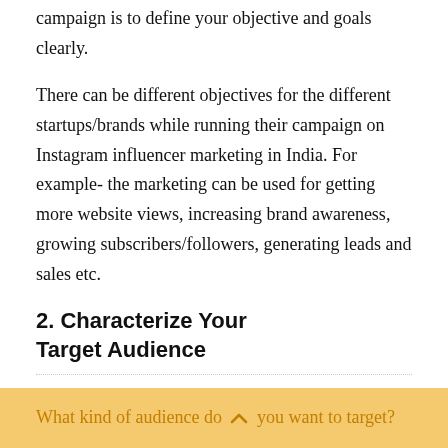campaign is to define your objective and goals clearly.
There can be different objectives for the different startups/brands while running their campaign on Instagram influencer marketing in India. For example- the marketing can be used for getting more website views, increasing brand awareness, growing subscribers/followers, generating leads and sales etc.
2. Characterize Your Target Audience
The second step is to characterize your audience.
What kind of audience do you want to target?